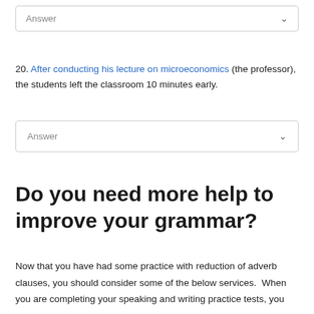Answer (dropdown)
20. After conducting his lecture on microeconomics (the professor), the students left the classroom 10 minutes early.
Answer (dropdown)
Do you need more help to improve your grammar?
Now that you have had some practice with reduction of adverb clauses, you should consider some of the below services.  When you are completing your speaking and writing practice tests, you